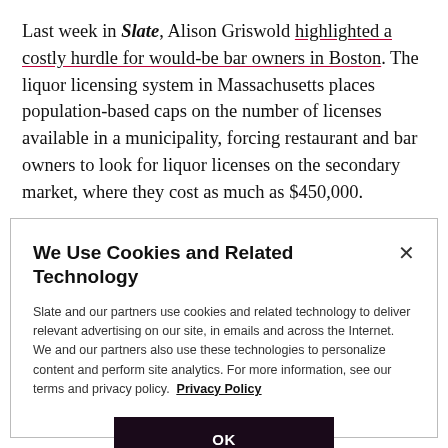Last week in Slate, Alison Griswold highlighted a costly hurdle for would-be bar owners in Boston. The liquor licensing system in Massachusetts places population-based caps on the number of licenses available in a municipality, forcing restaurant and bar owners to look for liquor licenses on the secondary market, where they cost as much as $450,000.
We Use Cookies and Related Technology
Slate and our partners use cookies and related technology to deliver relevant advertising on our site, in emails and across the Internet. We and our partners also use these technologies to personalize content and perform site analytics. For more information, see our terms and privacy policy. Privacy Policy
OK